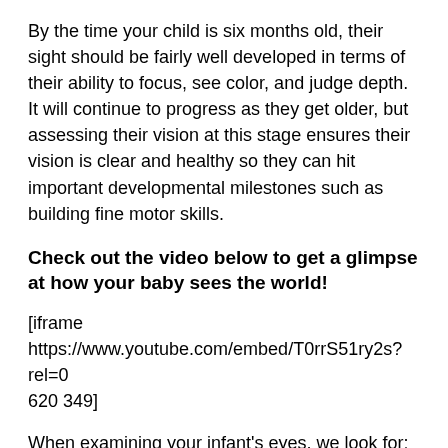By the time your child is six months old, their sight should be fairly well developed in terms of their ability to focus, see color, and judge depth. It will continue to progress as they get older, but assessing their vision at this stage ensures their vision is clear and healthy so they can hit important developmental milestones such as building fine motor skills.
Check out the video below to get a glimpse at how your baby sees the world!
[iframe https://www.youtube.com/embed/T0rrS51ry2s?rel=0 620 349]
When examining your infant's eyes, we look for:
Pupil response—Evaluating the eye's pupil responds appropriately to light exposure.